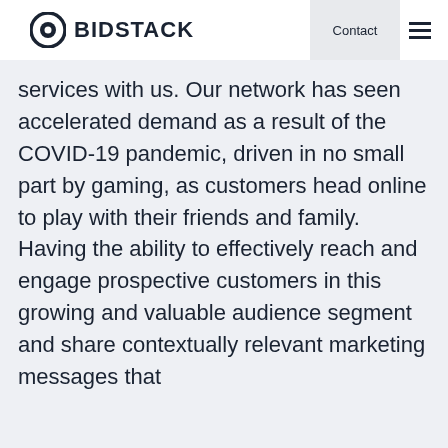BIDSTACK
services with us. Our network has seen accelerated demand as a result of the COVID-19 pandemic, driven in no small part by gaming, as customers head online to play with their friends and family. Having the ability to effectively reach and engage prospective customers in this growing and valuable audience segment and share contextually relevant marketing messages that